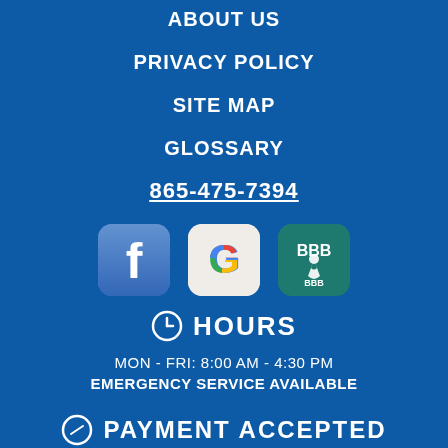ABOUT US
PRIVACY POLICY
SITE MAP
GLOSSARY
865-475-7394
[Figure (logo): Facebook, Google, and BBB social/review icons]
HOURS
MON - FRI: 8:00 AM - 4:30 PM
EMERGENCY SERVICE AVAILABLE
PAYMENT ACCEPTED